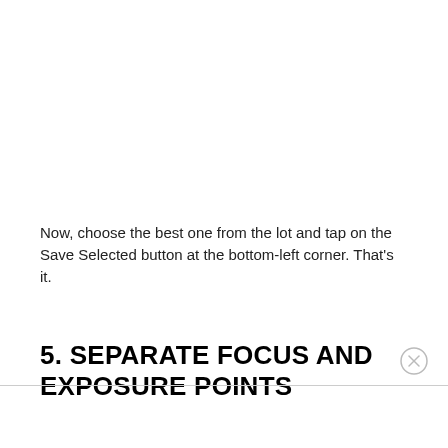Now, choose the best one from the lot and tap on the Save Selected button at the bottom-left corner. That's it.
5. SEPARATE FOCUS AND EXPOSURE POINTS